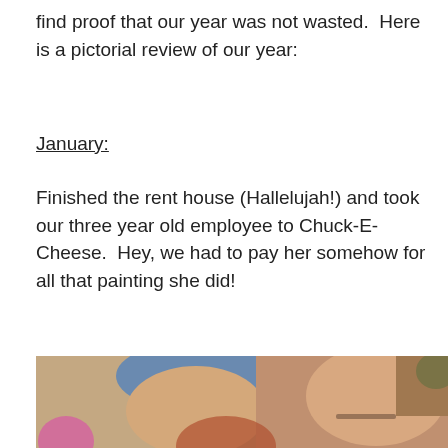find proof that our year was not wasted.  Here is a pictorial review of our year:
January:
Finished the rent house (Hallelujah!) and took our three year old employee to Chuck-E-Cheese.  Hey, we had to pay her somehow for all that painting she did!
[Figure (photo): A family photo showing a man wearing a blue cap leaning forward smiling, a woman with glasses and short blonde hair smiling, and a young red-haired child in the foreground, taken indoors.]